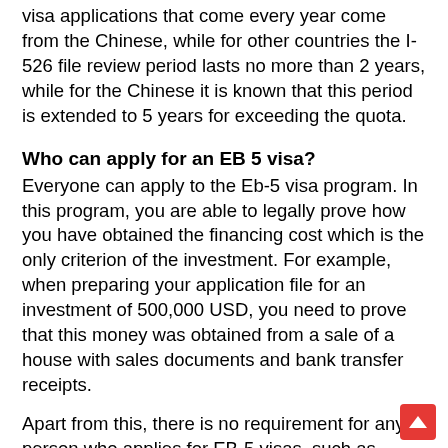visa applications that come every year come from the Chinese, while for other countries the I-526 file review period lasts no more than 2 years, while for the Chinese it is known that this period is extended to 5 years for exceeding the quota.
Who can apply for an EB 5 visa?
Everyone can apply to the Eb-5 visa program. In this program, you are able to legally prove how you have obtained the financing cost which is the only criterion of the investment. For example, when preparing your application file for an investment of 500,000 USD, you need to prove that this money was obtained from a sale of a house with sales documents and bank transfer receipts.
Apart from this, there is no requirement for any person who applies for EB-5 visas, such as knowing English, education level, and business background.
The scope of the EB-5 visa family members
The spouse of an EB-5 visa applicant and children under 21 years of age are entitled to citizenship with the applicant upon successful completion of the visa